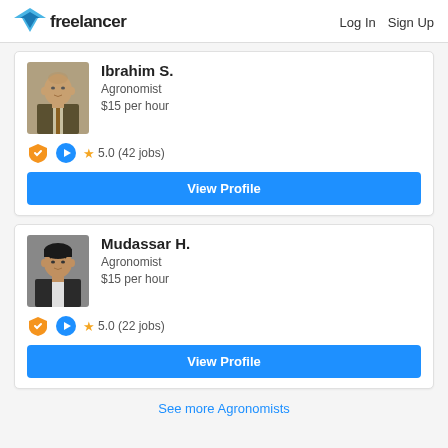freelancer | Log In  Sign Up
Ibrahim S.
Agronomist
$15 per hour
★ 5.0 (42 jobs)
View Profile
Mudassar H.
Agronomist
$15 per hour
★ 5.0 (22 jobs)
View Profile
See more Agronomists